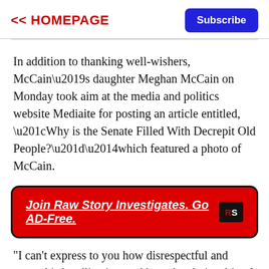<< HOMEPAGE | Subscribe
In addition to thanking well-wishers, McCain’s daughter Meghan McCain on Monday took aim at the media and politics website Mediaite for posting an article entitled, “Why is the Senate Filled With Decrepit Old People?”—which featured a photo of McCain.
[Figure (infographic): Red banner advertisement: 'Join Raw Story Investigates. Go AD-Free.' with RS logo on black background]
"I can't express to you how disrespectful and gross this headline is—and how deeply insulting I find it," Meghan McCain wrote. “Shame on all of you.”